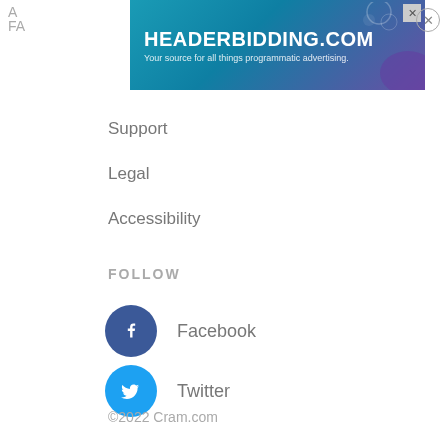[Figure (screenshot): HEADERBIDDING.COM advertisement banner with tagline 'Your source for all things programmatic advertising.']
Support
Legal
Accessibility
FOLLOW
Facebook
Twitter
©2022 Cram.com
Privacy Policy
CA Privacy Policy